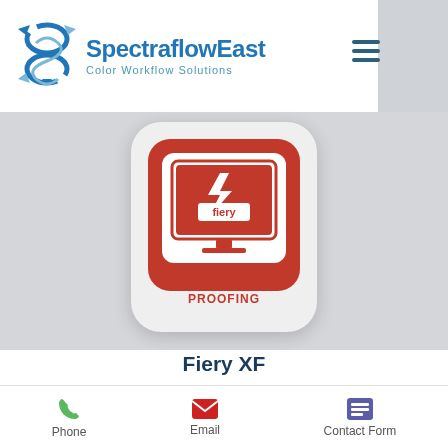[Figure (logo): SpectraflowEast logo with stylized S symbol and text 'SpectraflowEast' and tagline 'Color Workflow Solutions']
[Figure (screenshot): Fiery XF Proofing icon: red rounded square with white monitor graphic showing Fiery lightning bolt logo and text PROOFING]
Fiery XF
FAST RIP, Best-in-class color, Unified print room with Fiery Command WorkStation®. Massive driver
Phone   Email   Contact Form